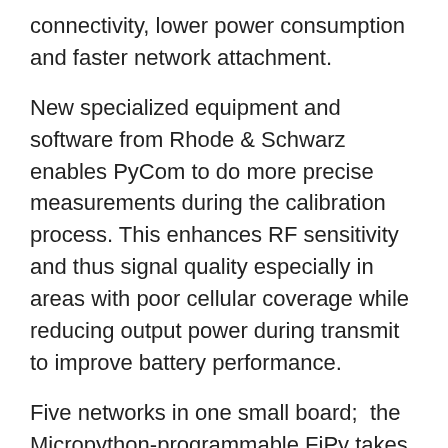connectivity, lower power consumption and faster network attachment.
New specialized equipment and software from Rhode & Schwarz enables PyCom to do more precise measurements during the calibration process. This enhances RF sensitivity and thus signal quality especially in areas with poor cellular coverage while reducing output power during transmit to improve battery performance.
Five networks in one small board;  the Micropython-programmable FiPy takes up the same footprint as our other boards. Featuring WiFi, Bluetooth, LoRa, Sigfox and dual LTE-M (CAT-M1 and NB-IoT), the FiPy gives access to global LPWAN networks.